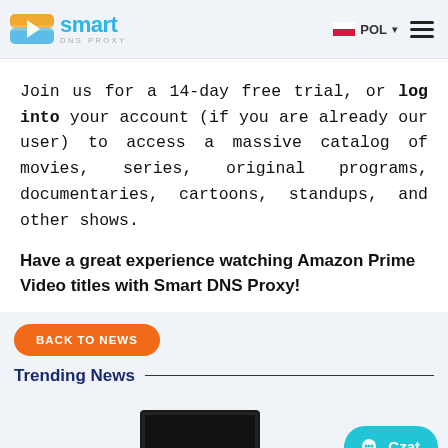Smart DNS Proxy — POL
Join us for a 14-day free trial, or log into your account (if you are already our user) to access a massive catalog of movies, series, original programs, documentaries, cartoons, standups, and other shows.
Have a great experience watching Amazon Prime Video titles with Smart DNS Proxy!
BACK TO NEWS
Trending News
[Figure (photo): Partial view of a black streaming device and a teal/blue colored element at bottom]
Czat